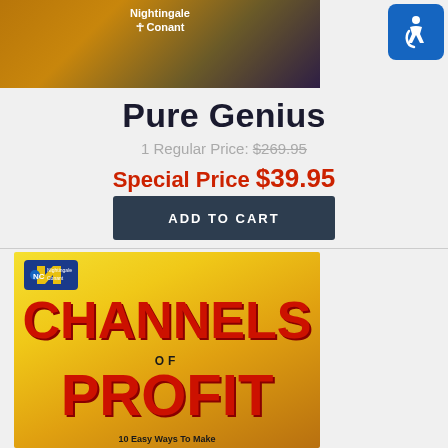[Figure (photo): Product image top - Nightingale Conant branded dark background with amber/brown tones]
[Figure (logo): Accessibility icon - blue rounded square with wheelchair user symbol]
Pure Genius
1 Regular Price: $269.95
Special Price $39.95
ADD TO CART
[Figure (photo): Book cover for Channels of Profit - yellow/gold gradient background with large red bold text reading CHANNELS OF PROFIT, Nightingale Conant logo top left, subtitle at bottom: 10 Easy Ways To Make...]